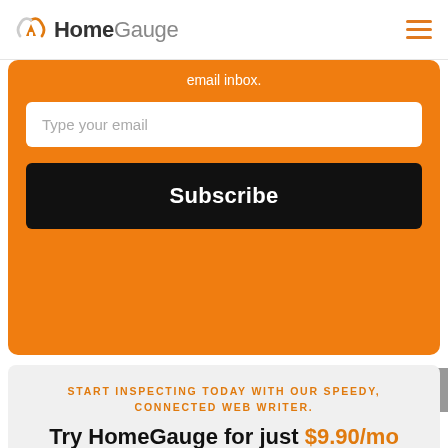HomeGauge
email inbox.
[Figure (screenshot): Email input field with placeholder text 'Type your email']
Subscribe
START INSPECTING TODAY WITH OUR SPEEDY, CONNECTED WEB WRITER.
Try HomeGauge for just $9.90/mo